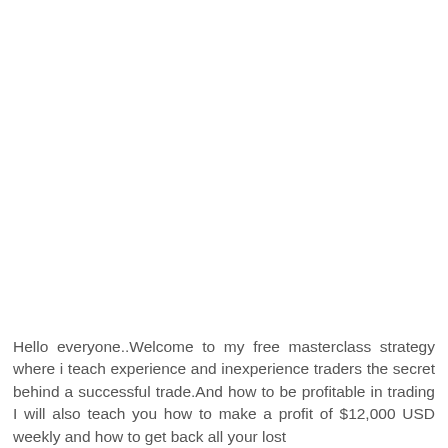Hello everyone..Welcome to my free masterclass strategy where i teach experience and inexperience traders the secret behind a successful trade.And how to be profitable in trading I will also teach you how to make a profit of $12,000 USD weekly and how to get back all your lost